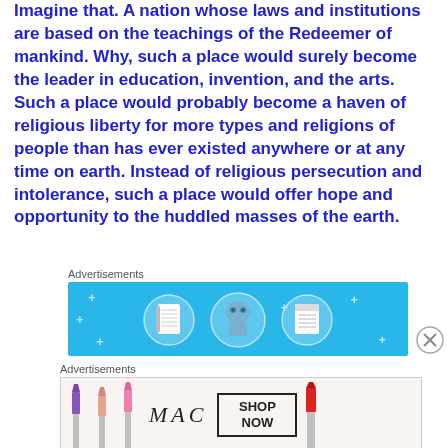Imagine that. A nation whose laws and institutions are based on the teachings of the Redeemer of mankind. Why, such a place would surely become the leader in education, invention, and the arts. Such a place would probably become a haven of religious liberty for more types and religions of people than has ever existed anywhere or at any time on earth. Instead of religious persecution and intolerance, such a place would offer hope and opportunity to the huddled masses of the earth.
[Figure (other): Advertisement banner with light blue background showing three circular icons: a notebook, a character/robot figure, and a lined document]
[Figure (other): Advertisement banner for MAC cosmetics showing lipsticks and a SHOP NOW button]